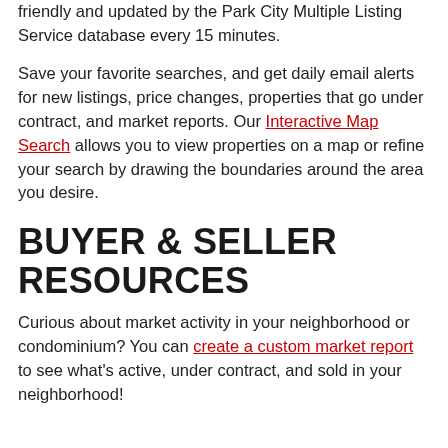friendly and updated by the Park City Multiple Listing Service database every 15 minutes.
Save your favorite searches, and get daily email alerts for new listings, price changes, properties that go under contract, and market reports. Our Interactive Map Search allows you to view properties on a map or refine your search by drawing the boundaries around the area you desire.
BUYER & SELLER RESOURCES
Curious about market activity in your neighborhood or condominium? You can create a custom market report to see what's active, under contract, and sold in your neighborhood!